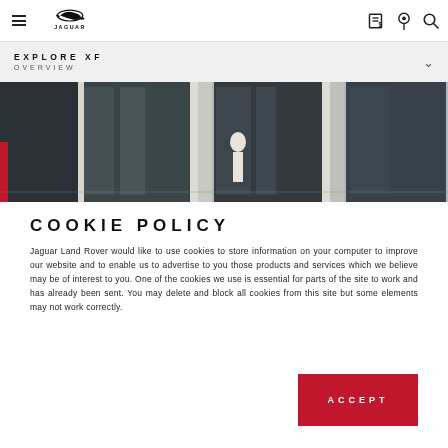≡  JAGUAR  [finance icon] [pin icon] [search icon]
EXPLORE XF  OVERVIEW
[Figure (photo): Exterior building facade with large glass windows and a person walking by]
COOKIE POLICY
Jaguar Land Rover would like to use cookies to store information on your computer to improve our website and to enable us to advertise to you those products and services which we believe may be of interest to you. One of the cookies we use is essential for parts of the site to work and has already been sent. You may delete and block all cookies from this site but some elements may not work correctly.
ACCEPT